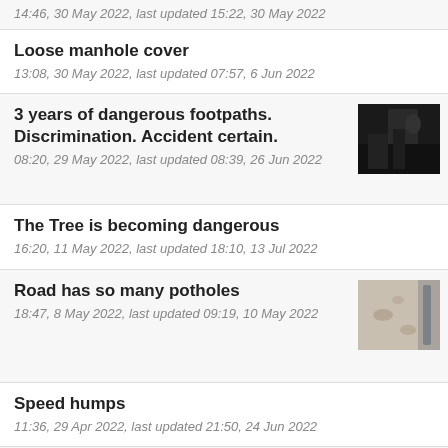14:46, 30 May 2022, last updated 15:22, 30 May 2022
Loose manhole cover
13:08, 30 May 2022, last updated 07:57, 6 Jun 2022
3 years of dangerous footpaths. Discrimination. Accident certain.
08:20, 29 May 2022, last updated 08:39, 26 Jun 2022
[Figure (photo): Dark nighttime photo of a footpath]
The Tree is becoming dangerous
16:20, 11 May 2022, last updated 18:10, 13 Jul 2022
Road has so many potholes
18:47, 8 May 2022, last updated 09:19, 10 May 2022
[Figure (photo): Photo of a road surface with potholes]
Speed humps
11:36, 29 Apr 2022, last updated 21:50, 24 Jun 2022
The recently installed speed bumps which have been